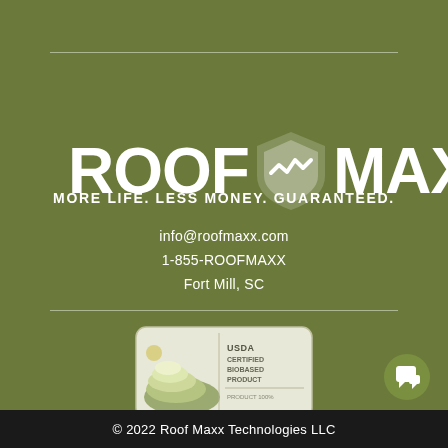[Figure (logo): Roof Maxx logo with shield icon, white on olive green background. Text reads ROOF MAXX with registered trademark symbol.]
MORE LIFE. LESS MONEY. GUARANTEED.
info@roofmaxx.com
1-855-ROOFMAXX
Fort Mill, SC
[Figure (logo): USDA Certified Biobased Product badge - white rounded rectangle with layered landscape graphic and text reading USDA CERTIFIED BIOBASED PRODUCT PRODUCT 100%]
© 2022 Roof Maxx Technologies LLC